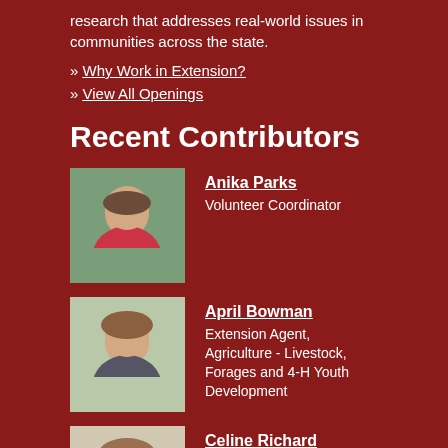research that addresses real-world issues in communities across the state.
» Why Work in Extension?
» View All Openings
Recent Contributors
[Figure (photo): Headshot of Anika Parks, a woman smiling outdoors]
Anika Parks
Volunteer Coordinator
[Figure (photo): Headshot of April Bowman, a woman with long hair smiling]
April Bowman
Extension Agent, Agriculture - Livestock, Forages and 4-H Youth Development
[Figure (photo): Headshot of Celine Richard, a woman with glasses and long hair]
Celine Richard
Extension Agent, Agriculture - Horticulture (Edible Crops)
[Figure (photo): Partial headshot of a fourth contributor, cut off at bottom]